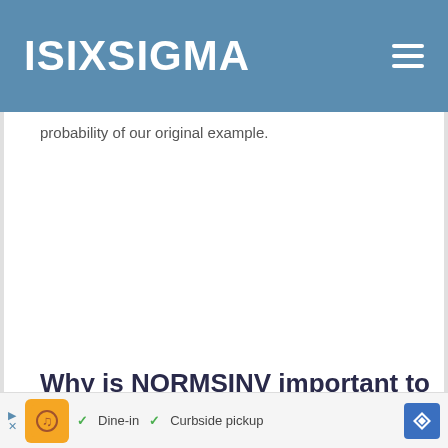ISIXSIGMA
probability of our original example.
Why is NORMSINV important to un…